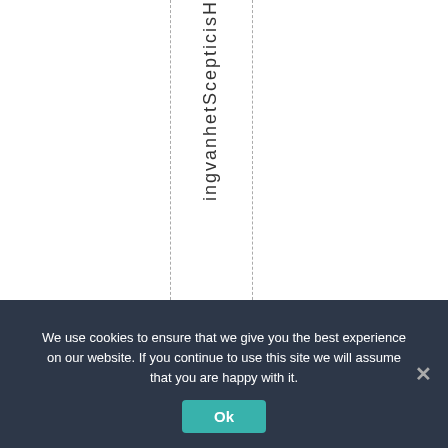ingvanhetScepticisH
We use cookies to ensure that we give you the best experience on our website. If you continue to use this site we will assume that you are happy with it. Ok